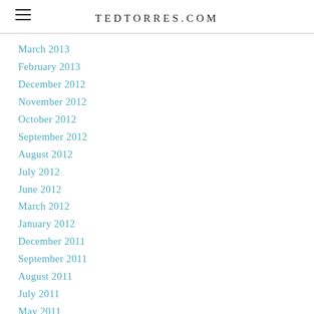TEDTORRES.COM
March 2013
February 2013
December 2012
November 2012
October 2012
September 2012
August 2012
July 2012
June 2012
March 2012
January 2012
December 2011
September 2011
August 2011
July 2011
May 2011
April 2011